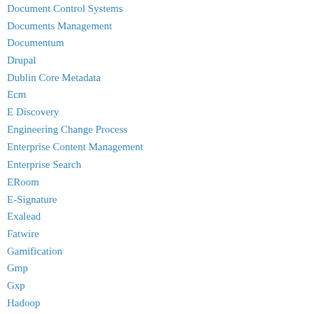Document Control Systems
Documents Management
Documentum
Drupal
Dublin Core Metadata
Ecm
E Discovery
Engineering Change Process
Enterprise Content Management
Enterprise Search
ERoom
E-Signature
Exalead
Fatwire
Gamification
Gmp
Gxp
Hadoop
Information Architecture
Information Governance